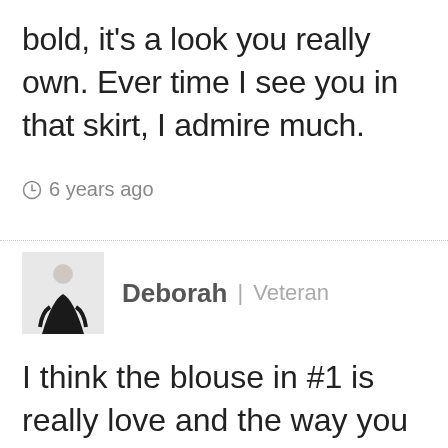bold, it's a look you really own. Every time I see you in that skirt, I admire much.
⊙ 6 years ago
Deborah | Veteran
I think the blouse in #1 is really love and the way you have styled it with vest is perfect. Definitely wear this